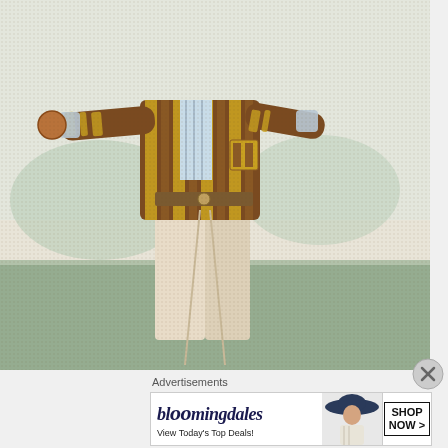[Figure (illustration): Vintage illustration of a cricket player in a striped brown and yellow jacket with white trousers, holding a cricket ball, standing on a green field. Style is a halftone dot-print engraving from the 19th century.]
Advertisements
[Figure (other): Bloomingdale's advertisement banner: brand name in italic serif font, tagline 'View Today's Top Deals!', image of a woman in a wide-brim hat, and a 'SHOP NOW >' call-to-action button.]